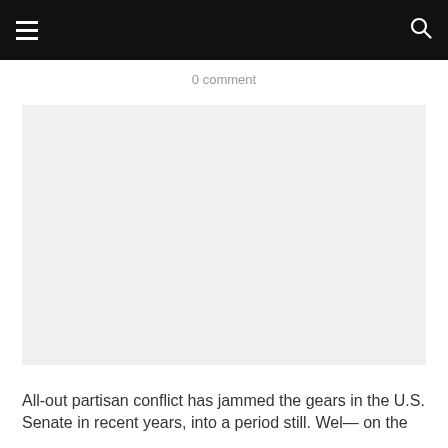0 comment
[Figure (photo): Large light gray image placeholder area]
All-out partisan conflict has jammed the gears in the U.S. Senate in recent years, into a period still. Wel— on the